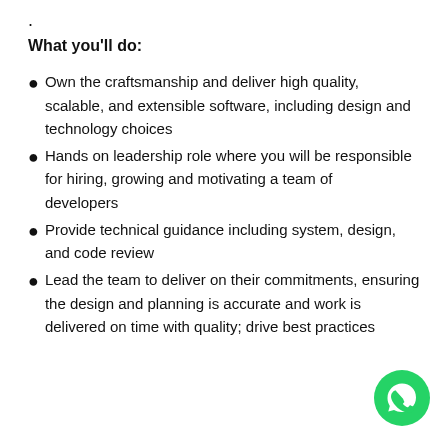.
What you'll do:
Own the craftsmanship and deliver high quality, scalable, and extensible software, including design and technology choices
Hands on leadership role where you will be responsible for hiring, growing and motivating a team of developers
Provide technical guidance including system, design, and code review
Lead the team to deliver on their commitments, ensuring the design and planning is accurate and work is delivered on time with quality; drive best practices